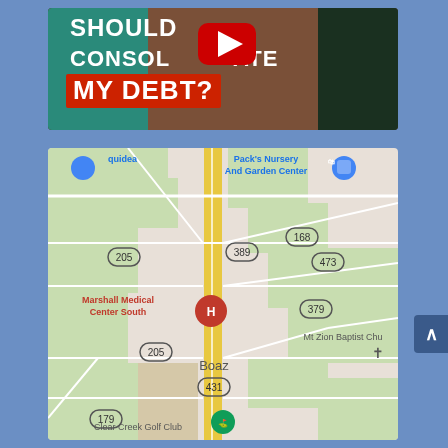[Figure (screenshot): YouTube video thumbnail showing text 'SHOULD I CONSOLIDATE MY DEBT?' with a woman pointing and a YouTube play button overlay. Text is white and red on dark background.]
[Figure (map): Google Maps screenshot showing the Boaz, Alabama area with road 431, route 205, route 179, route 389, route 168, route 473, route 379. Landmarks include Marshall Medical Center South (marked with H hospital icon), Pack's Nursery And Garden Center, Mt Zion Baptist Church, Clear Creek Golf Club. A yellow highway (431) runs vertically through the map.]